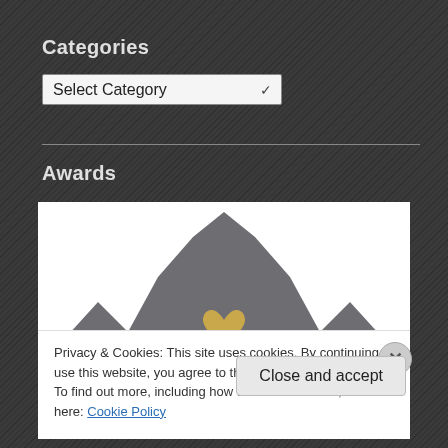Categories
[Figure (screenshot): Dropdown select box showing 'Select Category' with a chevron arrow]
Awards
[Figure (illustration): A gray crown/flower-like illustration on white background with a gold heart and small teal detail elements]
Privacy & Cookies: This site uses cookies. By continuing to use this website, you agree to their use.
To find out more, including how to control cookies, see here: Cookie Policy
Close and accept